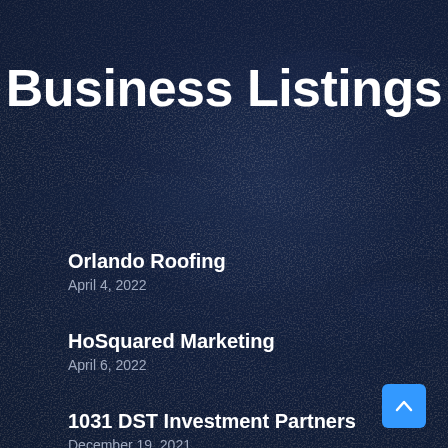Business Listings
Orlando Roofing
April 4, 2022
HoSquared Marketing
April 6, 2022
1031 DST Investment Partners
December 19, 2021